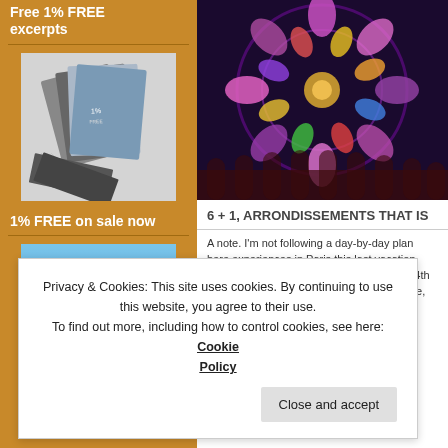Free 1% FREE excerpts
[Figure (photo): Stack of book covers fanned out, monochrome/dark tones]
1% FREE on sale now
[Figure (photo): Book cover for '1% FREE' by C.A. Matiasz with blue/light background]
[Figure (photo): Stained glass rose window with colorful geometric patterns in purple, red, blue, gold]
6 + 1, ARRONDISSEMENTS THAT IS
A note. I'm not following a day-by-day plan here experiences in Paris this last vacation. Rather, Arrondissement, starting with the 14th and com Arrondissements when appropriate, as well as thematically, so as to provide a slightly different
Privacy & Cookies: This site uses cookies. By continuing to use this website, you agree to their use.
To find out more, including how to control cookies, see here: Cookie Policy
Close and accept